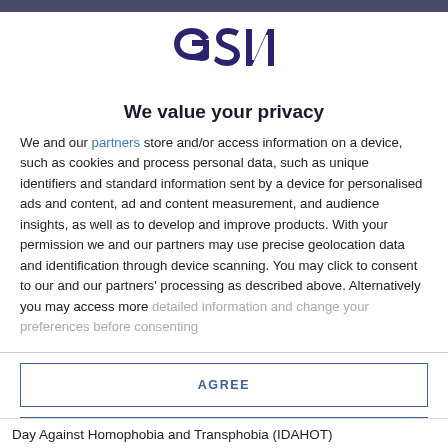[Figure (logo): GSN logo in dark navy/purple color]
We value your privacy
We and our partners store and/or access information on a device, such as cookies and process personal data, such as unique identifiers and standard information sent by a device for personalised ads and content, ad and content measurement, and audience insights, as well as to develop and improve products. With your permission we and our partners may use precise geolocation data and identification through device scanning. You may click to consent to our and our partners' processing as described above. Alternatively you may access more detailed information and change your preferences before consenting
AGREE
MORE OPTIONS
Day Against Homophobia and Transphobia (IDAHOT)